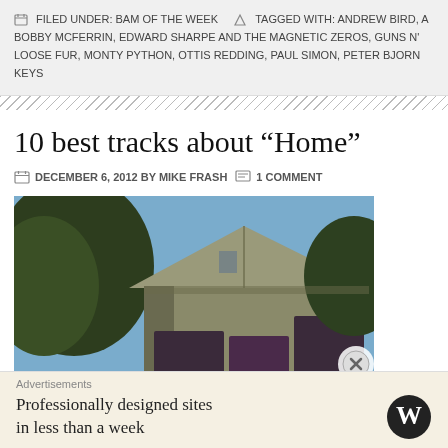FILED UNDER: BAM OF THE WEEK   TAGGED WITH: ANDREW BIRD, BOBBY MCFERRIN, EDWARD SHARPE AND THE MAGNETIC ZEROS, GUNS N', LOOSE FUR, MONTY PYTHON, OTTIS REDDING, PAUL SIMON, PETER BJORN KEYS
10 best tracks about “Home”
DECEMBER 6, 2012 BY MIKE FRASH   1 COMMENT
[Figure (photo): Photo of a house exterior with peaked roof, siding, and surrounding trees]
Advertisements
Professionally designed sites in less than a week